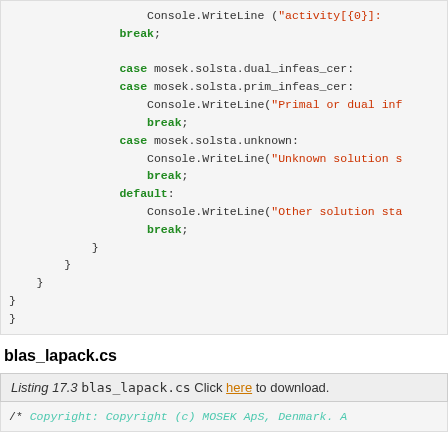[Figure (screenshot): Code listing showing C# switch-case code with mosek.solsta cases including dual_infeas_cer, prim_infeas_cer, unknown, and default, with Console.WriteLine statements and break statements, followed by closing braces.]
blas_lapack.cs
Listing 17.3 blas_lapack.cs Click here to download.
[Figure (screenshot): Beginning of a C# source file comment block showing /* Copyright: Copyright (c) MOSEK ApS, Denmark. A]